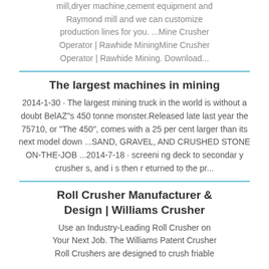mill,dryer machine,cement equipment and Raymond mill and we can customize production lines for you. ...Mine Crusher Operator | Rawhide MiningMine Crusher Operator | Rawhide Mining. Download...
The largest machines in mining
2014-1-30 · The largest mining truck in the world is without a doubt BelAZ"s 450 tonne monster.Released late last year the 75710, or "The 450", comes with a 25 per cent larger than its next model down ...SAND, GRAVEL, AND CRUSHED STONE ON-THE-JOB ...2014-7-18 · screeni ng deck to secondar y crusher s, and i s then r eturned to the pr...
Roll Crusher Manufacturer & Design | Williams Crusher
Use an Industry-Leading Roll Crusher on Your Next Job. The Williams Patent Crusher Roll Crushers are designed to crush friable